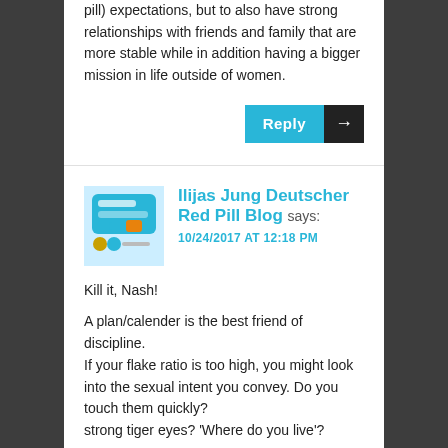pill) expectations, but to also have strong relationships with friends and family that are more stable while in addition having a bigger mission in life outside of women.
Reply →
Ilijas Jung Deutscher Red Pill Blog says: 10/24/2017 AT 12:18 PM
Kill it, Nash!

A plan/calender is the best friend of discipline.
If your flake ratio is too high, you might look into the sexual intent you convey. Do you touch them quickly? strong tiger eyes? 'Where do you live'?